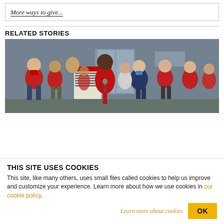More ways to give...
RELATED STORIES
[Figure (photo): Group of people in red shirts holding protest signs in front of a building, a woman in red speaking at a microphone in the center]
THIS SITE USES COOKIES
This site, like many others, uses small files called cookies to help us improve and customize your experience. Learn more about how we use cookies in our cookie policy.
Learn more about cookies
OK